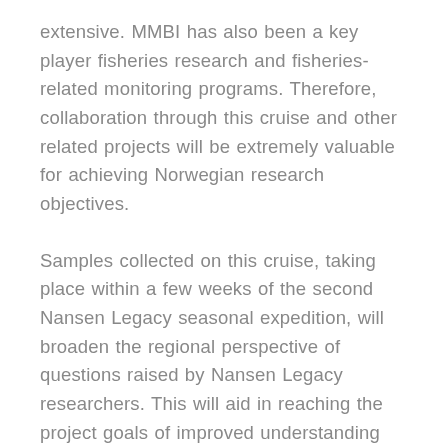extensive. MMBI has also been a key player fisheries research and fisheries-related monitoring programs. Therefore, collaboration through this cruise and other related projects will be extremely valuable for achieving Norwegian research objectives.
Samples collected on this cruise, taking place within a few weeks of the second Nansen Legacy seasonal expedition, will broaden the regional perspective of questions raised by Nansen Legacy researchers. This will aid in reaching the project goals of improved understanding and management of the changing